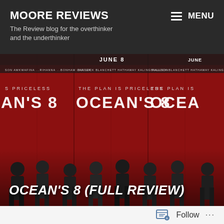MOORE REVIEWS
The Review blog for the overthinker and the underthinker
[Figure (photo): Ocean's 8 movie promotional poster showing eight women in black outfits against a red background, with text 'THE PLAN IS PRICELESS', 'OCEAN'S 8', 'JUNE 8', cast names including BULLOCK, BLANCHETT, HATHAWAY, KALING, PAULSON, AWKWAFINA, RIHANNA, BONHAM CARTER]
OCEAN'S 8 (FULL REVIEW)
Follow ...